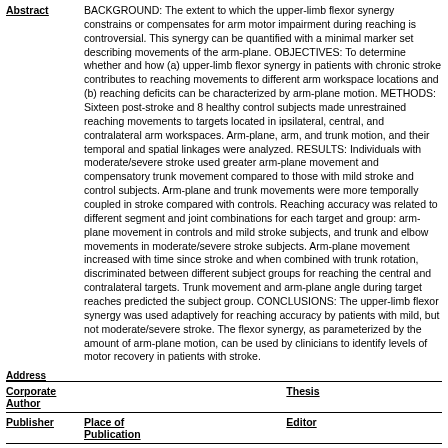Abstract  BACKGROUND: The extent to which the upper-limb flexor synergy constrains or compensates for arm motor impairment during reaching is controversial. This synergy can be quantified with a minimal marker set describing movements of the arm-plane. OBJECTIVES: To determine whether and how (a) upper-limb flexor synergy in patients with chronic stroke contributes to reaching movements to different arm workspace locations and (b) reaching deficits can be characterized by arm-plane motion. METHODS: Sixteen post-stroke and 8 healthy control subjects made unrestrained reaching movements to targets located in ipsilateral, central, and contralateral arm workspaces. Arm-plane, arm, and trunk motion, and their temporal and spatial linkages were analyzed. RESULTS: Individuals with moderate/severe stroke used greater arm-plane movement and compensatory trunk movement compared to those with mild stroke and control subjects. Arm-plane and trunk movements were more temporally coupled in stroke compared with controls. Reaching accuracy was related to different segment and joint combinations for each target and group: arm-plane movement in controls and mild stroke subjects, and trunk and elbow movements in moderate/severe stroke subjects. Arm-plane movement increased with time since stroke and when combined with trunk rotation, discriminated between different subject groups for reaching the central and contralateral targets. Trunk movement and arm-plane angle during target reaches predicted the subject group. CONCLUSIONS: The upper-limb flexor synergy was used adaptively for reaching accuracy by patients with mild, but not moderate/severe stroke. The flexor synergy, as parameterized by the amount of arm-plane motion, can be used by clinicians to identify levels of motor recovery in patients with stroke.
Address
|  |  | Thesis |
| --- | --- | --- |
| Corporate Author |  | Thesis |
| Publisher | Place of Publication | Editor |
| Language | English  Summary Language | Original Title |